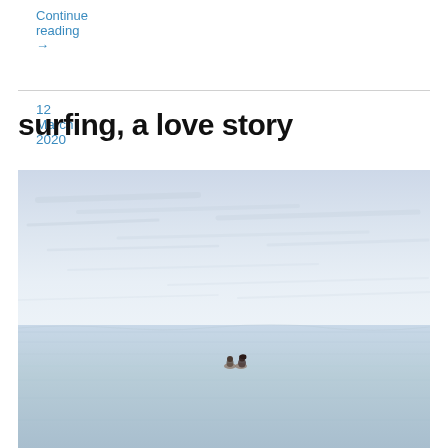Continue reading →
12 March 2020
surfing, a love story
[Figure (photo): Two people sitting on surfboards in calm, flat ocean water with a pale blue cloudy sky above. The figures are small and centered in the lower half of the image.]